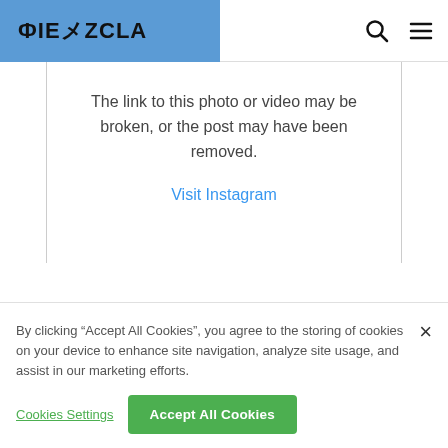RIEMEZCLA
The link to this photo or video may be broken, or the post may have been removed.
Visit Instagram
By clicking “Accept All Cookies”, you agree to the storing of cookies on your device to enhance site navigation, analyze site usage, and assist in our marketing efforts.
Cookies Settings
Accept All Cookies